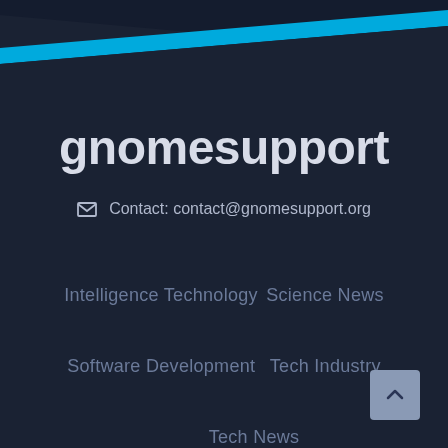[Figure (illustration): Dark navy background header with a diagonal bright cyan/blue stripe across the top portion of the page]
gnomesupport
✉ Contact: contact@gnomesupport.org
Intelligence Technology
Science News
Software Development
Tech Industry
Tech News